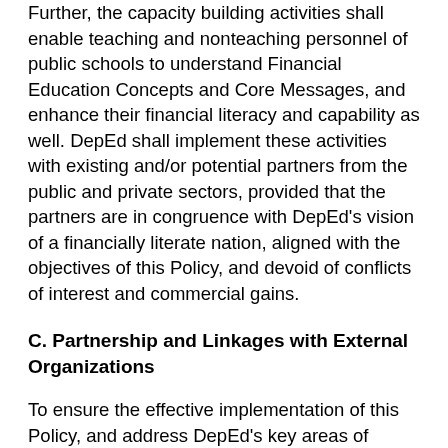Further, the capacity building activities shall enable teaching and nonteaching personnel of public schools to understand Financial Education Concepts and Core Messages, and enhance their financial literacy and capability as well. DepEd shall implement these activities with existing and/or potential partners from the public and private sectors, provided that the partners are in congruence with DepEd's vision of a financially literate nation, aligned with the objectives of this Policy, and devoid of conflicts of interest and commercial gains.
C. Partnership and Linkages with External Organizations
To ensure the effective implementation of this Policy, and address DepEd's key areas of